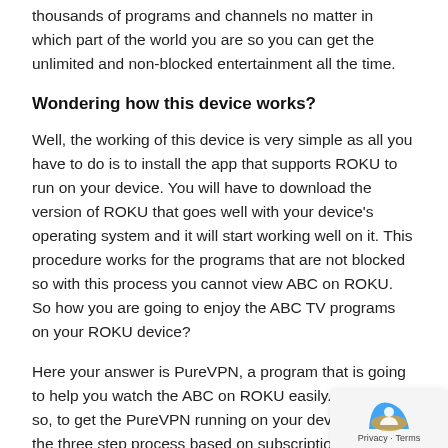thousands of programs and channels no matter in which part of the world you are so you can get the unlimited and non-blocked entertainment all the time.
Wondering how this device works?
Well, the working of this device is very simple as all you have to do is to install the app that supports ROKU to run on your device. You will have to download the version of ROKU that goes well with your device's operating system and it will start working well on it. This procedure works for the programs that are not blocked so with this process you cannot view ABC on ROKU. So how you are going to enjoy the ABC TV programs on your ROKU device?
Here your answer is PureVPN, a program that is going to help you watch the ABC on ROKU easily. All you to so, to get the PureVPN running on your device is follow the three step process based on subscription and